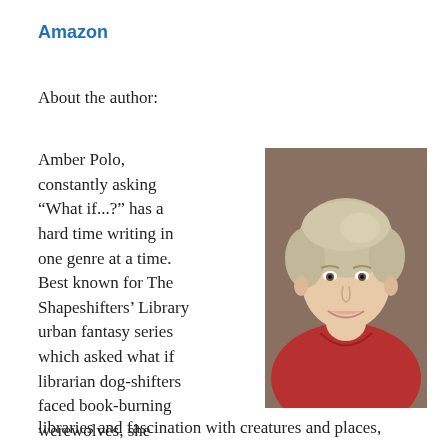Amazon
About the author:
Amber Polo, constantly asking “What if…?” has a hard time writing in one genre at a time. Best known for The Shapeshifters’ Library urban fantasy series which asked what if librarian dog-shifters faced book-burning werewolves, she shares her love of libraries and fascination with creatures and places,
[Figure (photo): Headshot photo of Amber Polo, a smiling older woman with short gray-blonde hair wearing a red collared shirt, against a brown studio background.]